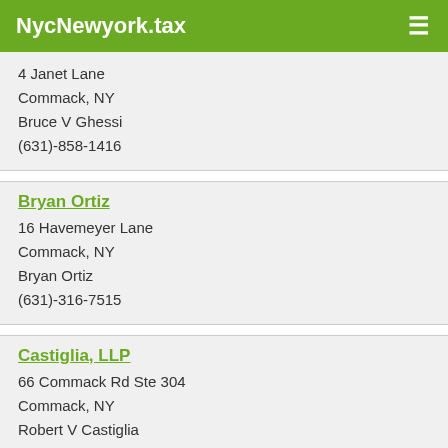NycNewyork.tax
4 Janet Lane
Commack, NY
Bruce V Ghessi
(631)-858-1416
Bryan Ortiz
16 Havemeyer Lane
Commack, NY
Bryan Ortiz
(631)-316-7515
Castiglia, LLP
66 Commack Rd Ste 304
Commack, NY
Robert V Castiglia
(631)-486-7830
Chris R Hahn CPA P.C.